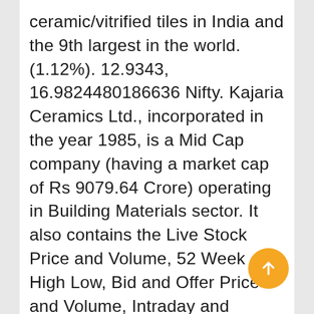ceramic/vitrified tiles in India and the 9th largest in the world. (1.12%). 12.9343, 16.9824480186636 Nifty. Kajaria Ceramics Ltd., incorporated in the year 1985, is a Mid Cap company (having a market cap of Rs 9079.64 Crore) operating in Building Materials sector. It also contains the Live Stock Price and Volume, 52 Week High Low, Bid and Offer Price and Volume, Intraday and Historical Price Chart. Each tile is made using state of the art technology making them strong, durable & easy to maintain. Check out why Kajaria Ceramic share price is up today. ... Kajaria Ceramic Standalone September 2020 Net Sales at Rs